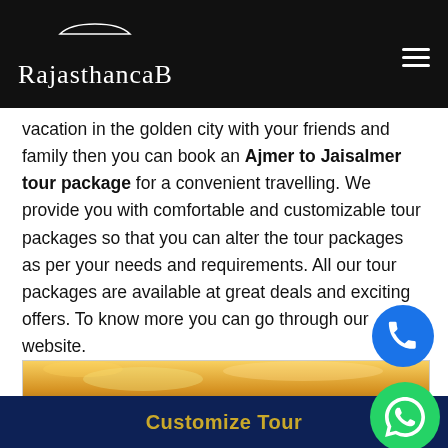RajasthancaB
vacation in the golden city with your friends and family then you can book an Ajmer to Jaisalmer tour package for a convenient travelling. We provide you with comfortable and customizable tour packages so that you can alter the tour packages as per your needs and requirements. All our tour packages are available at great deals and exciting offers. To know more you can go through our website.
[Figure (photo): Scenic golden desert sunset with silhouette of a person in Jaisalmer]
Customize Tour